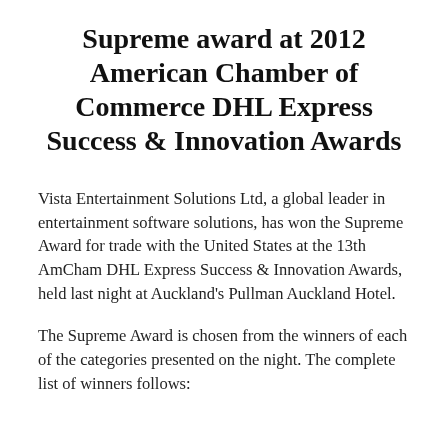Supreme award at 2012 American Chamber of Commerce DHL Express Success & Innovation Awards
Vista Entertainment Solutions Ltd, a global leader in entertainment software solutions, has won the Supreme Award for trade with the United States at the 13th AmCham DHL Express Success & Innovation Awards, held last night at Auckland's Pullman Auckland Hotel.
The Supreme Award is chosen from the winners of each of the categories presented on the night. The complete list of winners follows: